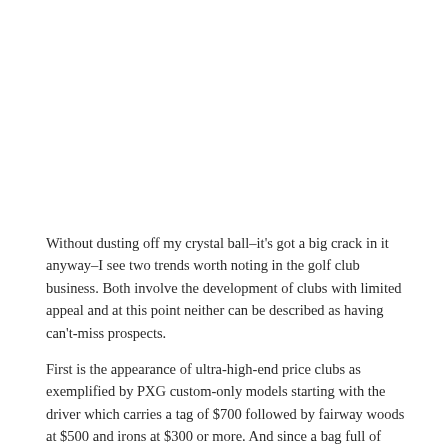Without dusting off my crystal ball–it's got a big crack in it anyway–I see two trends worth noting in the golf club business. Both involve the development of clubs with limited appeal and at this point neither can be described as having can't-miss prospects.
First is the appearance of ultra-high-end price clubs as exemplified by PXG custom-only models starting with the driver which carries a tag of $700 followed by fairway woods at $500 and irons at $300 or more. And since a bag full of PXGs wouldn't be complete without the addition of